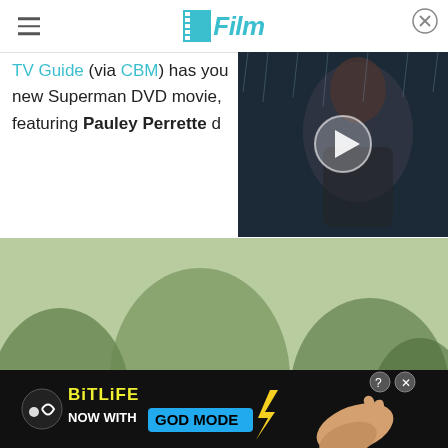SlashFilm
TV Guide (via CBM) has you new Superman DVD movie, featuring Pauley Perrette d
[Figure (screenshot): Video thumbnail showing Superman character with play button overlay, rain scene]
[Figure (illustration): Animated illustration showing Batman and a woman in purple dress standing on a large rock in a nature background, with a color calibration strip on the right]
[Figure (screenshot): BitLife advertisement banner: NOW WITH GOD MODE, with lightning bolt and hand graphics, help and close buttons]